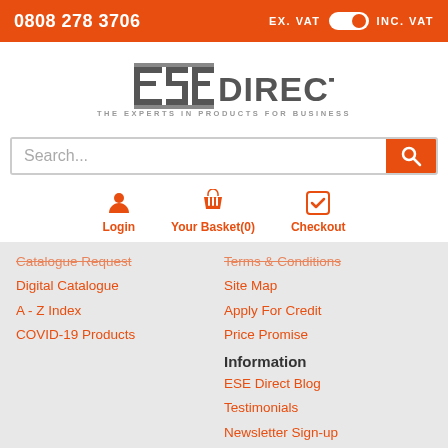0808 278 3706 | EX. VAT [toggle] INC. VAT
[Figure (logo): ESE Direct logo with tagline 'THE EXPERTS IN PRODUCTS FOR BUSINESS']
Search...
Login | Your Basket(0) | Checkout
Catalogue Request
Digital Catalogue
A - Z Index
COVID-19 Products
Terms & Conditions
Site Map
Apply For Credit
Price Promise
Information
ESE Direct Blog
Testimonials
Newsletter Sign-up
Delivery & Returns
Privacy & Cookies